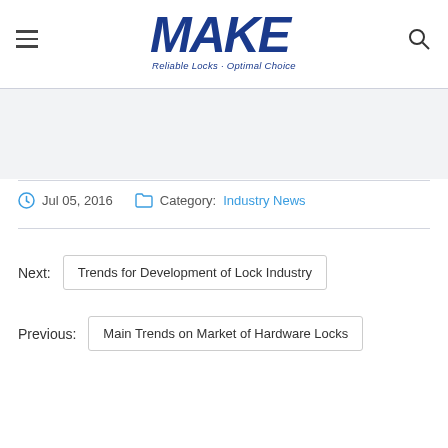MAKE — Reliable Locks · Optimal Choice
Jul 05, 2016   Category: Industry News
Next: Trends for Development of Lock Industry
Previous: Main Trends on Market of Hardware Locks